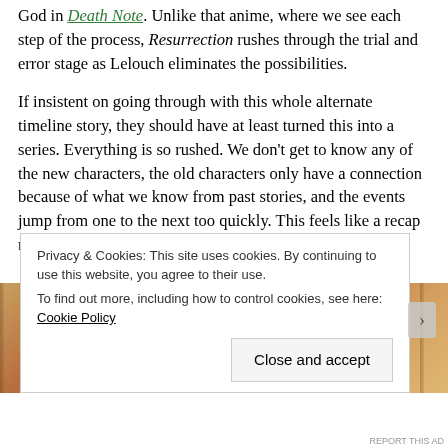similar to watching how people are dying as if by the power of God in Death Note. Unlike that anime, where we see each step of the process, Resurrection rushes through the trial and error stage as Lelouch eliminates the possibilities.
If insistent on going through with this whole alternate timeline story, they should have at least turned this into a series. Everything is so rushed. We don't get to know any of the new characters, the old characters only have a connection because of what we know from past stories, and the events jump from one to the next too quickly. This feels like a recap movie, not the definitive continuation of Code Geass.
[Figure (photo): Partially visible screenshot from an anime scene showing characters in a warm-toned ornate interior setting]
Privacy & Cookies: This site uses cookies. By continuing to use this website, you agree to their use.
To find out more, including how to control cookies, see here: Cookie Policy
Close and accept
REPORT THIS AD